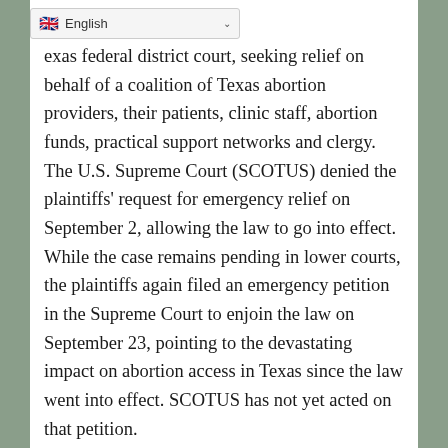[Figure (screenshot): Language selector dropdown showing UK flag and 'English' with a chevron]
…exas federal district court, seeking relief on behalf of a coalition of Texas abortion providers, their patients, clinic staff, abortion funds, practical support networks and clergy. The U.S. Supreme Court (SCOTUS) denied the plaintiffs' request for emergency relief on September 2, allowing the law to go into effect. While the case remains pending in lower courts, the plaintiffs again filed an emergency petition in the Supreme Court to enjoin the law on September 23, pointing to the devastating impact on abortion access in Texas since the law went into effect. SCOTUS has not yet acted on that petition.

The U.S. Department of Justice filed a separate case on September 9, United States v. State of Texas, claiming that the law had violated…